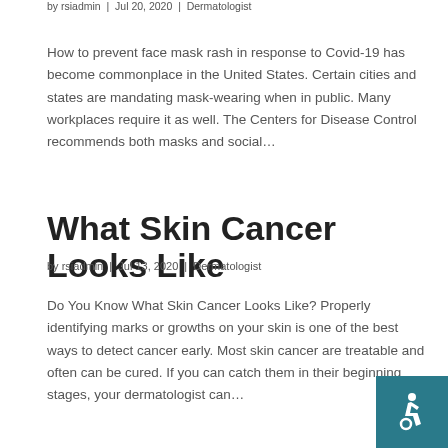by rsiadmin | Jul 20, 2020 | Dermatologist
How to prevent face mask rash in response to Covid-19 has become commonplace in the United States. Certain cities and states are mandating mask-wearing when in public. Many workplaces require it as well. The Centers for Disease Control recommends both masks and social…
What Skin Cancer Looks Like
by rsiadmin | Jul 13, 2020 | Dermatologist
Do You Know What Skin Cancer Looks Like? Properly identifying marks or growths on your skin is one of the best ways to detect cancer early. Most skin cancer are treatable and often can be cured. If you can catch them in their beginning stages, your dermatologist can…